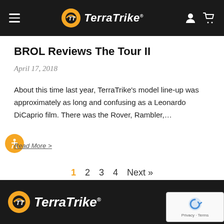TerraTrike
BROL Reviews The Tour II
April 17, 2018
About this time last year, TerraTrike's model line-up was approximately as long and confusing as a Leonardo DiCaprio film. There was the Rover, Rambler,…
Read More >
1  2  3  4  Next »
TerraTrike